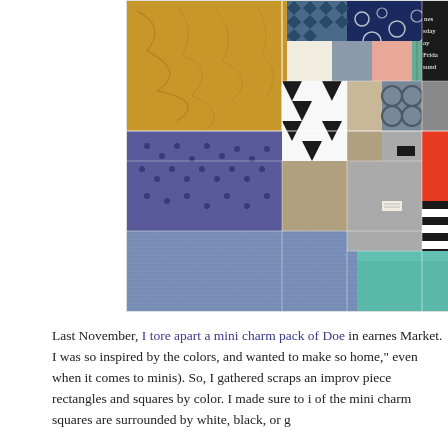[Figure (photo): Close-up photo of a patchwork quilt made from various fabric scraps in colors including mustard yellow, navy blue, teal, orange, gray, black and white patterns, and text fabric. The quilt shows improv-pieced rectangles and squares arranged in a colorful mosaic.]
Last November, I tore apart a mini charm pack of Doe in earnes... Market. I was so inspired by the colors, and wanted to make so... home," even when it comes to minis). So, I gathered scraps an... improv piece rectangles and squares by color. I made sure to i... of the mini charm squares are surrounded by white, black, or g...